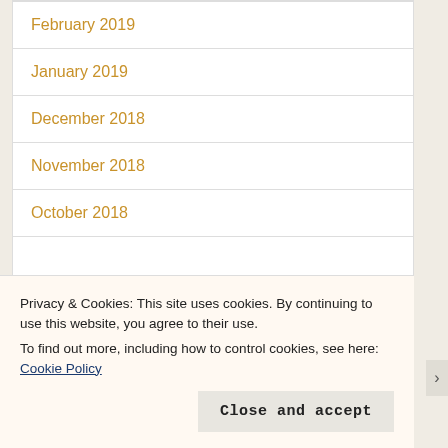February 2019
January 2019
December 2018
November 2018
October 2018
Privacy & Cookies: This site uses cookies. By continuing to use this website, you agree to their use.
To find out more, including how to control cookies, see here: Cookie Policy
Close and accept